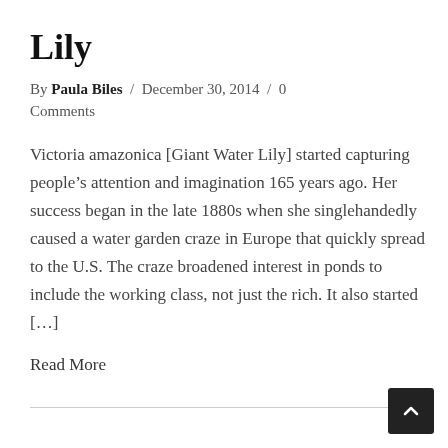Lily
By Paula Biles / December 30, 2014 / 0 Comments
Victoria amazonica [Giant Water Lily] started capturing people’s attention and imagination 165 years ago. Her success began in the late 1880s when she singlehandedly caused a water garden craze in Europe that quickly spread to the U.S. The craze broadened interest in ponds to include the working class, not just the rich. It also started […]
Read More